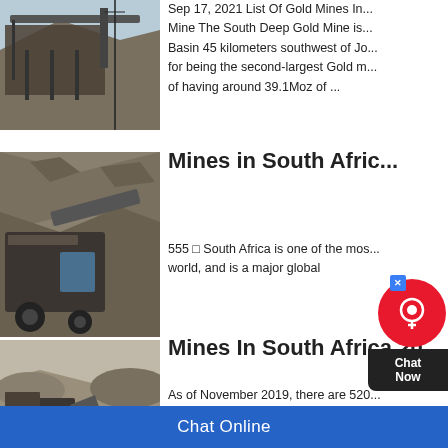[Figure (photo): Mining facility with conveyor belt structure on hillside]
Sep 17, 2021 List Of Gold Mines In... Mine The South Deep Gold Mine is... Basin 45 kilometers southwest of Jo... for being the second-largest Gold m... of having around 39.1Moz of ...
[Figure (photo): Open pit mining machinery with large industrial equipment against rock face]
Mines in South Africa ...
555 □ South Africa is one of the mos... world, and is a major global
[Figure (photo): Outdoor mining operation with heavy machinery and earthmoving equipment on terrain]
Mines In South Africa 20...
As of November 2019, there are 520... listed on Africa Mining IQ. South Afr... listed on the largest producers of pl...
Chat Online